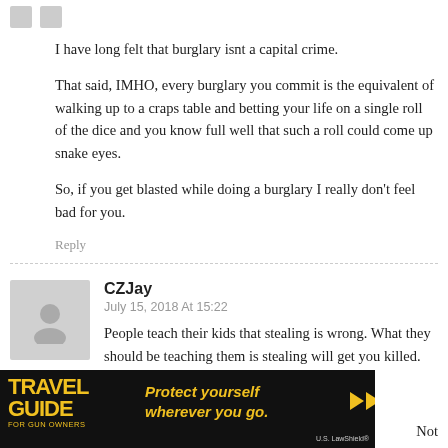I have long felt that burglary isnt a capital crime.
That said, IMHO, every burglary you commit is the equivalent of walking up to a craps table and betting your life on a single roll of the dice and you know full well that such a roll could come up snake eyes.
So, if you get blasted while doing a burglary I really don't feel bad for you.
Reply
CZJay
July 15, 2018 At 15:22
People teach their kids that stealing is wrong. What they should be teaching them is stealing will get you killed.
[Figure (photo): Advertisement banner for Travel Guide for Gun Owners featuring 'Protect yourself wherever you go.' text with U.S. LawShield branding]
Not